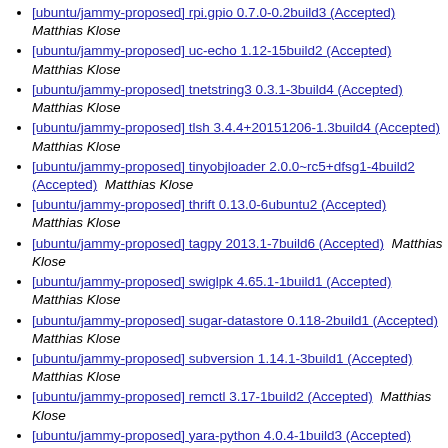[ubuntu/jammy-proposed] rpi.gpio 0.7.0-0.2build3 (Accepted)  Matthias Klose
[ubuntu/jammy-proposed] uc-echo 1.12-15build2 (Accepted)  Matthias Klose
[ubuntu/jammy-proposed] tnetstring3 0.3.1-3build4 (Accepted)  Matthias Klose
[ubuntu/jammy-proposed] tlsh 3.4.4+20151206-1.3build4 (Accepted)  Matthias Klose
[ubuntu/jammy-proposed] tinyobjloader 2.0.0~rc5+dfsg1-4build2 (Accepted)  Matthias Klose
[ubuntu/jammy-proposed] thrift 0.13.0-6ubuntu2 (Accepted)  Matthias Klose
[ubuntu/jammy-proposed] tagpy 2013.1-7build6 (Accepted)  Matthias Klose
[ubuntu/jammy-proposed] swiglpk 4.65.1-1build1 (Accepted)  Matthias Klose
[ubuntu/jammy-proposed] sugar-datastore 0.118-2build1 (Accepted)  Matthias Klose
[ubuntu/jammy-proposed] subversion 1.14.1-3build1 (Accepted)  Matthias Klose
[ubuntu/jammy-proposed] remctl 3.17-1build2 (Accepted)  Matthias Klose
[ubuntu/jammy-proposed] yara-python 4.0.4-1build3 (Accepted)  Matthias Klose
[ubuntu/jammy-proposed] xgridfit 2.3-4build4 (Accepted)